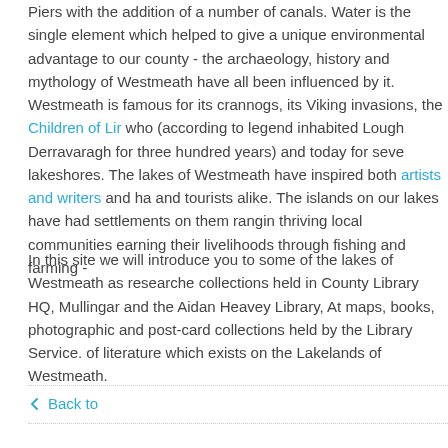Piers with the addition of a number of canals. Water is the single element which helped to give a unique environmental advantage to our county - the archaeology, history and mythology of Westmeath have all been influenced by it. Westmeath is famous for its crannogs, its Viking invasions, the Children of Lir who (according to legend inhabited Lough Derravaragh for three hundred years) and today for several lakeshores. The lakes of Westmeath have inspired both artists and writers and have and tourists alike. The islands on our lakes have had settlements on them ranging thriving local communities earning their livelihoods through fishing and farming -
In this site we will introduce you to some of the lakes of Westmeath as researched collections held in County Library HQ, Mullingar and the Aidan Heavey Library, At maps, books, photographic and post-card collections held by the Library Service. of literature which exists on the Lakelands of Westmeath.
Back to